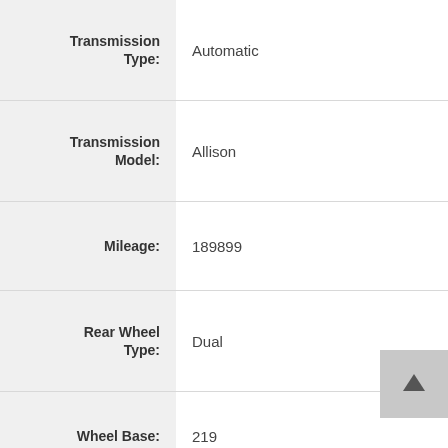| Field | Value |
| --- | --- |
| Transmission Type: | Automatic |
| Transmission Model: | Allison |
| Mileage: | 189899 |
| Rear Wheel Type: | Dual |
| Wheel Base: | 219 |
| GVWR: | 25,500 |
| Cdl Required: | No |
| Air Brakes: | No |